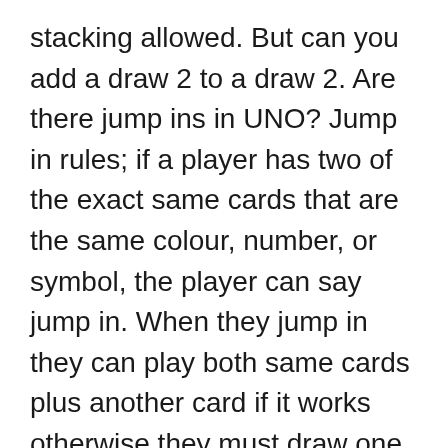stacking allowed. But can you add a draw 2 to a draw 2. Are there jump ins in UNO? Jump in rules; if a player has two of the exact same cards that are the same colour, number, or symbol, the player can say jump in. When they jump in they can play both same cards plus another card if it works otherwise they must draw one, and then it goes to the next player.
Can you put Draw 2 on a Draw 2? A common Uno variant allows the recipient of a draw 2 to avoid drawing (and being skipped) by playing